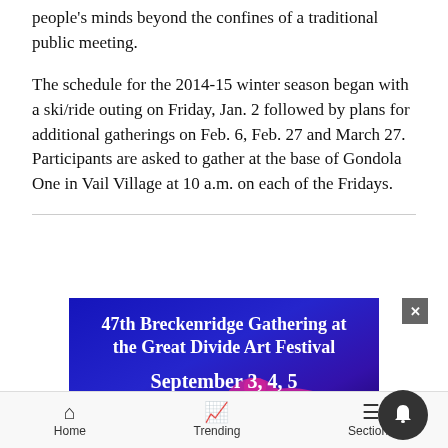people's minds beyond the confines of a traditional public meeting.
The schedule for the 2014-15 winter season began with a ski/ride outing on Friday, Jan. 2 followed by plans for additional gatherings on Feb. 6, Feb. 27 and March 27. Participants are asked to gather at the base of Gondola One in Vail Village at 10 a.m. on each of the Fridays.
[Figure (illustration): Advertisement banner for 47th Breckenridge Gathering at the Great Divide Art Festival, September 3, 4, 5. Dark blue/purple background with a pink/magenta animal silhouette (bison or similar).]
Home   Trending   Sections